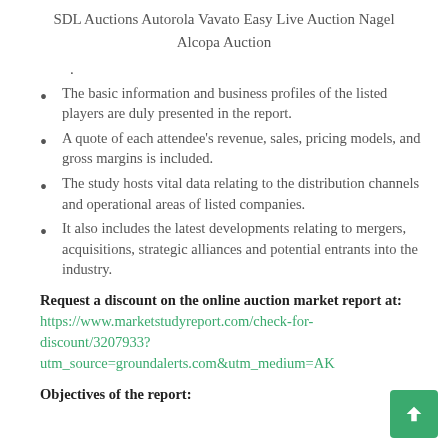SDL Auctions Autorola Vavato Easy Live Auction Nagel Alcopa Auction
.
The basic information and business profiles of the listed players are duly presented in the report.
A quote of each attendee's revenue, sales, pricing models, and gross margins is included.
The study hosts vital data relating to the distribution channels and operational areas of listed companies.
It also includes the latest developments relating to mergers, acquisitions, strategic alliances and potential entrants into the industry.
Request a discount on the online auction market report at: https://www.marketstudyreport.com/check-for-discount/3207933?utm_source=groundalerts.com&utm_medium=AK
Objectives of the report: